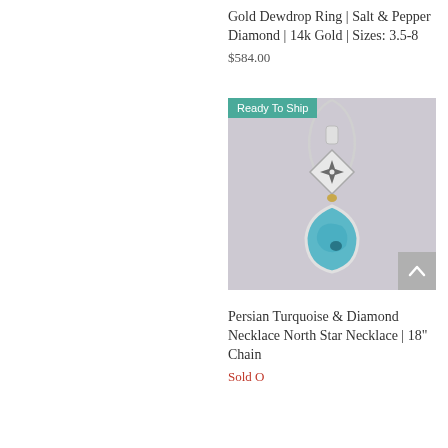Gold Dewdrop Ring | Salt & Pepper Diamond | 14k Gold | Sizes: 3.5-8
$584.00
[Figure (photo): A silver necklace pendant featuring a diamond-shaped top piece with a north star engraving holding a small diamond, connected to a teardrop-shaped Persian turquoise stone in a silver bezel setting, hanging from a chain. A 'Ready To Ship' teal badge overlays the top-left corner. A grey scroll-to-top button overlays the bottom-right.]
Persian Turquoise & Diamond Necklace North Star Necklace | 18" Chain
Sold Out